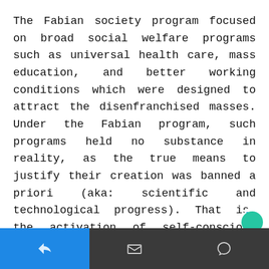The Fabian society program focused on broad social welfare programs such as universal health care, mass education, and better working conditions which were designed to attract the disenfranchised masses. Under the Fabian program, such programs held no substance in reality, as the true means to justify their creation was banned a priori (aka: scientific and technological progress). That is, the activation of self-conscious reason in all members of society.
This ruse was thus designed to merely bring the will of the lower classes under the deeper
7